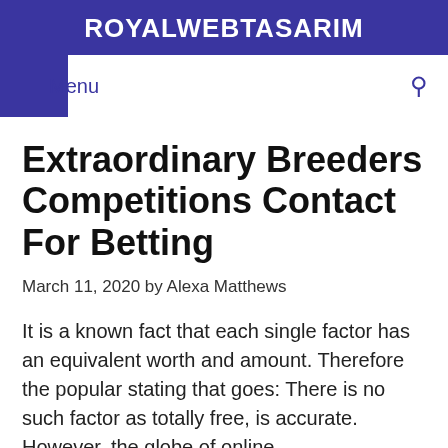ROYALWEBTASARIM
Extraordinary Breeders Competitions Contact For Betting
March 11, 2020 by Alexa Matthews
It is a known fact that each single factor has an equivalent worth and amount. Therefore the popular stating that goes: There is no such factor as totally free, is accurate. However, the globe of online